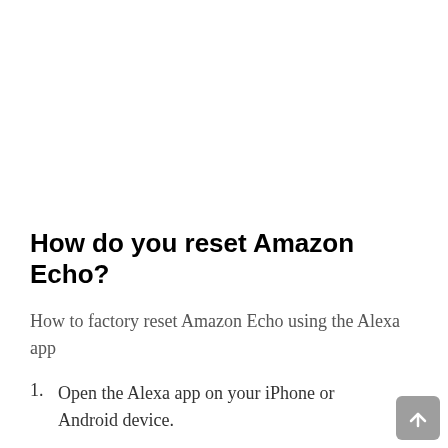How do you reset Amazon Echo?
How to factory reset Amazon Echo using the Alexa app
Open the Alexa app on your iPhone or Android device.